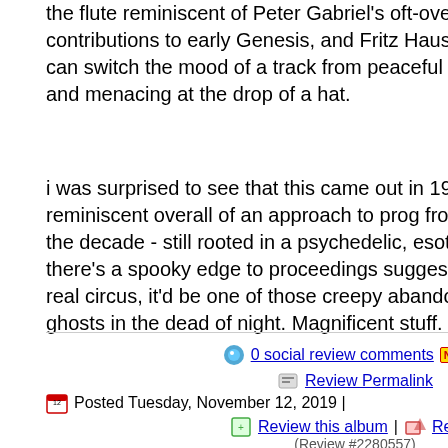the flute reminiscent of Peter Gabriel's oft-overlooked flute contributions to early Genesis, and Fritz Hauser's percussive backing can switch the mood of a track from peaceful and pastoral to haunting and menacing at the drop of a hat.
i was surprised to see that this came out in 1977, because it's reminiscent overall of an approach to prog from substantially earlier in the decade - still rooted in a psychedelic, esoteric underground - and there's a spooky edge to proceedings suggesting that if this were a real circus, it'd be one of those creepy abandoned ones attended by ghosts in the dead of night. Magnificent stuff.
0 social review comments NEW! | Review Permalink
Posted Tuesday, November 12, 2019 |
Review this album | Report
(Review #2280557)